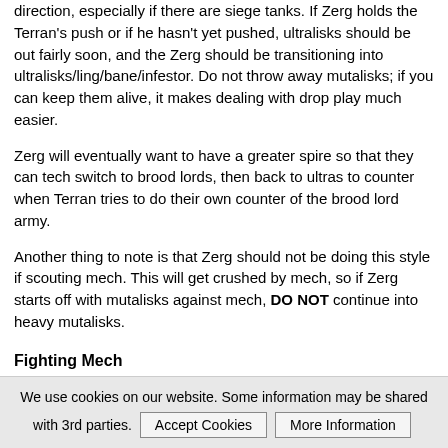direction, especially if there are siege tanks. If Zerg holds the Terran's push or if he hasn't yet pushed, ultralisks should be out fairly soon, and the Zerg should be transitioning into ultralisks/ling/bane/infestor. Do not throw away mutalisks; if you can keep them alive, it makes dealing with drop play much easier.
Zerg will eventually want to have a greater spire so that they can tech switch to brood lords, then back to ultras to counter when Terran tries to do their own counter of the brood lord army.
Another thing to note is that Zerg should not be doing this style if scouting mech. This will get crushed by mech, so if Zerg starts off with mutalisks against mech, DO NOT continue into heavy mutalisks.
Fighting Mech
Fighting mech can be quite hard as it is difficult to engage them on their own turf. Normally, Zerg will want to try and contain the meching player to as few bases for as long as possible while taking expansions and starving the Terran of resources.
The best way Zergs have found to fight mech is to get swarm hosts out, about 12-15 and have them assaulting the Terran bases. Behind this, Zerg should have roach/hydra, and once hive finishes Zerg should start adding in the vipers. Swarm hosts are very powerful against mech as they make the mech push a bit slower, delaying the push quite a bit with locusts. It also makes
We use cookies on our website. Some information may be shared with 3rd parties. Accept Cookies | More Information